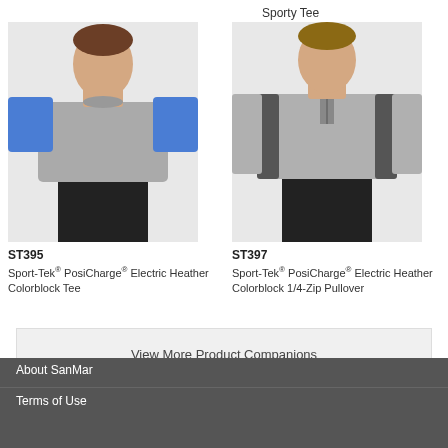Sporty Tee
[Figure (photo): Man wearing Sport-Tek PosiCharge Electric Heather Colorblock Tee, blue and heather grey colorblock short sleeve]
ST395
Sport-Tek® PosiCharge® Electric Heather Colorblock Tee
[Figure (photo): Man wearing Sport-Tek PosiCharge Electric Heather Colorblock 1/4-Zip Pullover in grey with black side panels]
ST397
Sport-Tek® PosiCharge® Electric Heather Colorblock 1/4-Zip Pullover
View More Product Companions
About SanMar
Terms of Use